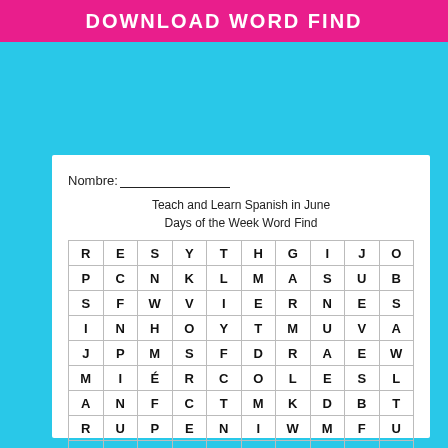DOWNLOAD WORD FIND
Nombre:_______________
Teach and Learn Spanish in June
Days of the Week Word Find
| R | E | S | Y | T | H | G | I | J | O |
| P | C | N | K | L | M | A | S | U | B |
| S | F | W | V | I | E | R | N | E | S |
| I | N | H | O | Y | T | M | U | V | A |
| J | P | M | S | F | D | R | A | E | W |
| M | I | É | R | C | O | L | E | S | L |
| A | N | F | C | T | M | K | D | B | T |
| R | U | P | E | N | I | W | M | F | U |
| T | I | O | L | U | N | E | S | L | B |